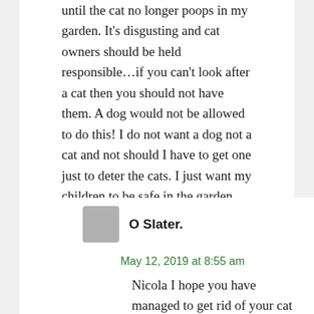until the cat no longer poops in my garden. It's disgusting and cat owners should be held responsible…if you can't look after a cat then you should not have them. A dog would not be allowed to do this! I do not want a dog not a cat and not should I have to get one just to deter the cats. I just want my children to be safe in the garden playing without poop.
Reply
O Slater.
May 12, 2019 at 8:55 am
Nicola I hope you have managed to get rid of your cat